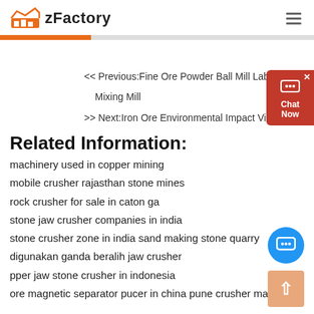zFactory
<< Previous:Fine Ore Powder Ball Mill Lab Ball Mill Mixing Mill
>> Next:Iron Ore Environmental Impact Vietnam
Related Information:
machinery used in copper mining
mobile crusher rajasthan stone mines
rock crusher for sale in caton ga
stone jaw crusher companies in india
stone crusher zone in india sand making stone quarry
digunakan ganda beralih jaw crusher
pper jaw stone crusher in indonesia
ore magnetic separator pucer in china pune crusher machine